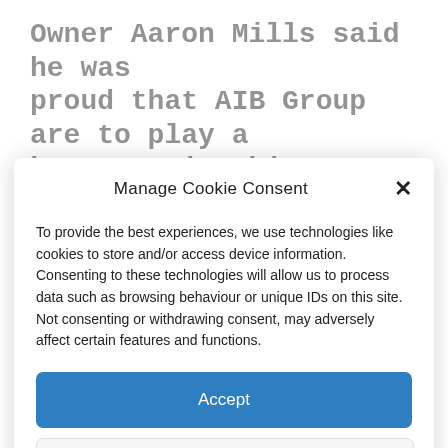Owner Aaron Mills said he was proud that AIB Group are to play a key part in this celebration of
Manage Cookie Consent
To provide the best experiences, we use technologies like cookies to store and/or access device information. Consenting to these technologies will allow us to process data such as browsing behaviour or unique IDs on this site. Not consenting or withdrawing consent, may adversely affect certain features and functions.
Accept
Deny
View preferences
Cookies Policy   Privacy Policy